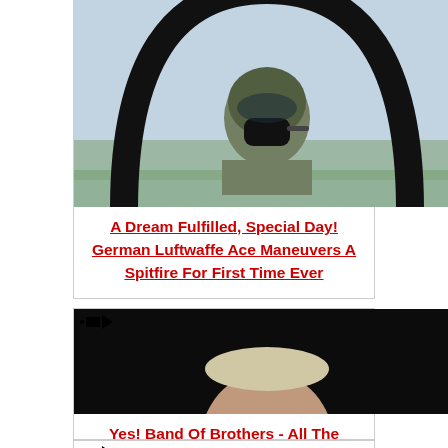[Figure (photo): Partial view of a person in a cockpit wearing a flight helmet, aerial view visible]
A Dream Fulfilled, Special Day! German Luftwaffe Ace Maneuvers A Spitfire For First Time Ever
[Figure (photo): Elderly man against dark background, portrait]
Yes! Band Of Brothers - All The Interviews With The Soldiers Of Easy Company
[Figure (photo): Elderly man sitting in a chair, wearing red sweater]